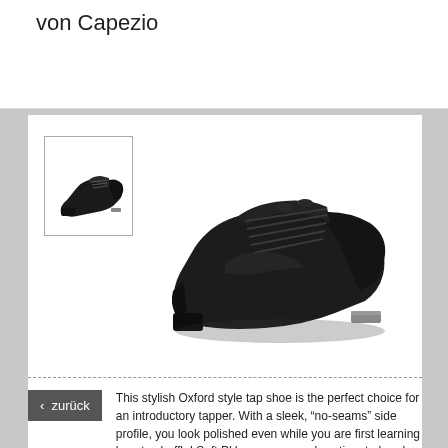von Capezio
[Figure (photo): Small thumbnail of a black Oxford tap shoe facing left, shown in a bordered box]
[Figure (photo): Large main product image of a black Oxford style tap shoe with laces, shown at an angle from the right side]
This stylish Oxford style tap shoe is the perfect choice for an introductory tapper. With a sleek, “no-seams” side profile, you look polished even while you are first learning how to shuffle! Soft PU upper means less time to break in, while the no slip heel counter keeps them in place. The plush lining prevents uncomfortable distractions and the padded heel absorbs shock, making sure that the only
‹  zurück